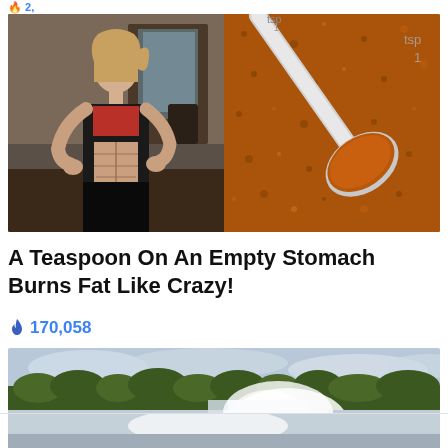[Figure (photo): Split image: left side shows a muscular fitness woman in gym attire lifting her shirt to show abs; right side shows a metal measuring spoon filled with orange/red spice powder]
A Teaspoon On An Empty Stomach Burns Fat Like Crazy!
🔥 170,058
[Figure (photo): Aerial photo of Niagara Falls showing waterfall mist, surrounding trees and river]